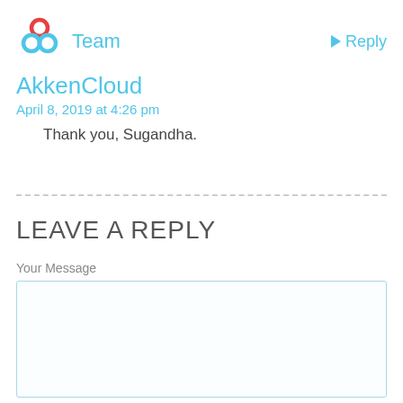[Figure (logo): AkkenCloud logo with three interlocking circles in red, blue, and green]
Team
Reply
AkkenCloud
April 8, 2019 at 4:26 pm
Thank you, Sugandha.
LEAVE A REPLY
Your Message